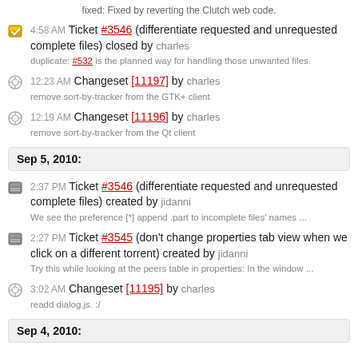fixed: Fixed by reverting the Clutch web code.
4:58 AM Ticket #3546 (differentiate requested and unrequested complete files) closed by charles
duplicate: #532 is the planned way for handling those unwanted files.
12:23 AM Changeset [11197] by charles
remove sort-by-tracker from the GTK+ client
12:19 AM Changeset [11196] by charles
remove sort-by-tracker from the Qt client
Sep 5, 2010:
2:37 PM Ticket #3546 (differentiate requested and unrequested complete files) created by jidanni
We see the preference [*] append .part to incomplete files' names ...
2:27 PM Ticket #3545 (don't change properties tab view when we click on a different torrent) created by jidanni
Try this while looking at the peers table in properties: In the window ...
3:02 AM Changeset [11195] by charles
readd dialog.js. :/
Sep 4, 2010: